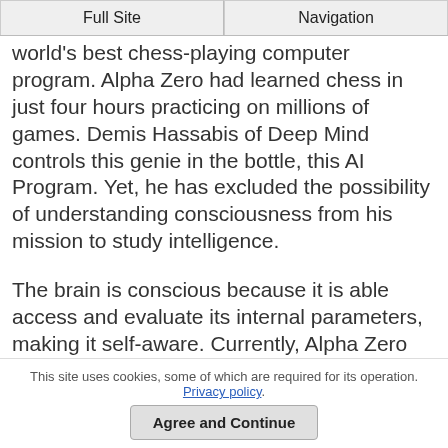Full Site | Navigation
world's best chess-playing computer program. Alpha Zero had learned chess in just four hours practicing on millions of games. Demis Hassabis of Deep Mind controls this genie in the bottle, this AI Program. Yet, he has excluded the possibility of understanding consciousness from his mission to study intelligence.
The brain is conscious because it is able access and evaluate its internal parameters, making it self-aware. Currently, Alpha Zero does not record its own internal activities, including
This site uses cookies, some of which are required for its operation. Privacy policy.
Agree and Continue